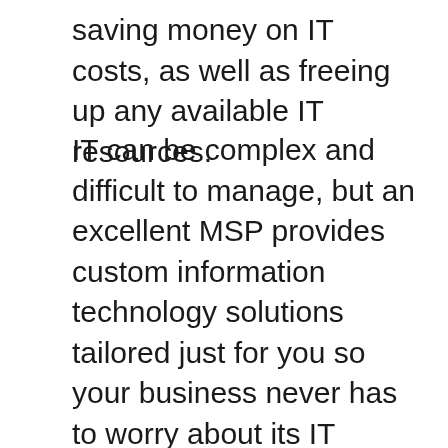saving money on IT costs, as well as freeing up any available IT resources.
IT can be complex and difficult to manage, but an excellent MSP provides custom information technology solutions tailored just for you so your business never has to worry about its IT again. They have experts under their belt with years of experience integrating technology seamlessly into any environment which means there will never be a disruption to the day-to-day operations of the business! We’ll get a better understanding of what’s needed from top to bottom before crafting up a plan that meets your specific goals – no guesswork needed.